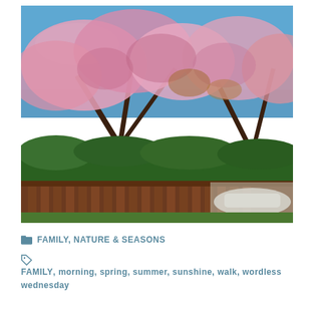[Figure (photo): Cherry blossom trees with pink flowers in full bloom against a blue sky, with a dark green hedge and wooden fence below. Two trees visible, foreground and background.]
FAMILY, NATURE & SEASONS
FAMILY, morning, spring, summer, sunshine, walk, wordless wednesday